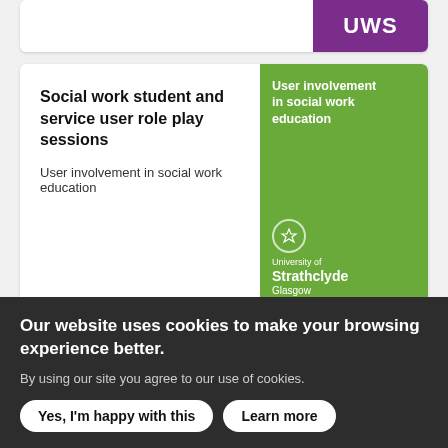[Figure (logo): UWS logo on purple background, partial card at top]
Social work student and service user role play sessions
User involvement in social work education
[Figure (logo): University of Strathclyde Glasgow logo on green background with text: User involvement in social work education]
No Recourse to Public Funds: Olivia's story
User involvement in social work education
[Figure (logo): GCU Glasgow Caledonian University logo on orange background with text: User involvement in social work education]
Our website uses cookies to make your browsing experience better.
By using our site you agree to our use of cookies.
Yes, I'm happy with this
Learn more